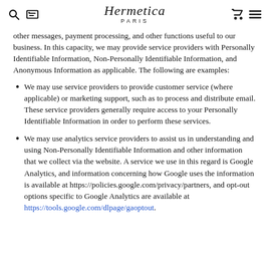Hermetica PARIS
other messages, payment processing, and other functions useful to our business. In this capacity, we may provide service providers with Personally Identifiable Information, Non-Personally Identifiable Information, and Anonymous Information as applicable. The following are examples:
We may use service providers to provide customer service (where applicable) or marketing support, such as to process and distribute email. These service providers generally require access to your Personally Identifiable Information in order to perform these services.
We may use analytics service providers to assist us in understanding and using Non-Personally Identifiable Information and other information that we collect via the website. A service we use in this regard is Google Analytics, and information concerning how Google uses the information is available at https://policies.google.com/privacy/partners, and opt-out options specific to Google Analytics are available at https://tools.google.com/dlpage/gaoptout.